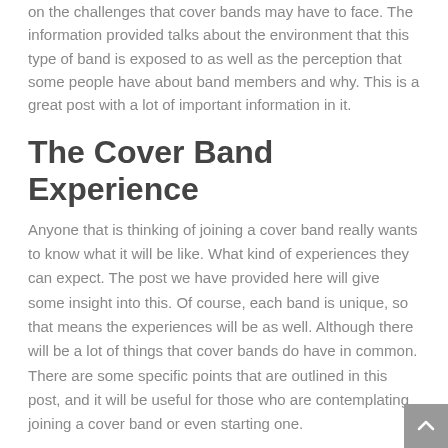on the challenges that cover bands may have to face. The information provided talks about the environment that this type of band is exposed to as well as the perception that some people have about band members and why. This is a great post with a lot of important information in it.
The Cover Band Experience
Anyone that is thinking of joining a cover band really wants to know what it will be like. What kind of experiences they can expect. The post we have provided here will give some insight into this. Of course, each band is unique, so that means the experiences will be as well. Although there will be a lot of things that cover bands do have in common. There are some specific points that are outlined in this post, and it will be useful for those who are contemplating joining a cover band or even starting one.
Live Streams
Musicians have some common resources they can use. Now with